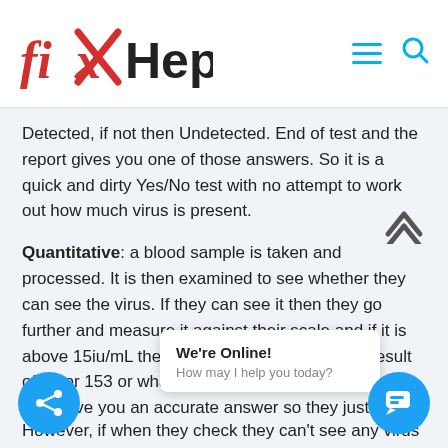fixHepC
Detected, if not then Undetected. End of test and the report gives you one of those answers. So it is a quick and dirty Yes/No test with no attempt to work out how much virus is present.
Quantitative: a blood sample is taken and processed. It is then examined to see whether they can see the virus. If they can see it then they go further and measure it against their scale and if it is above 15iu/mL then they will give an accurate result of 27 or 153 or whatever it is. If it is below 15 they can't give you an accurate answer so they just say Detected ≤15 but the assumption is that it is probably where betwe
However, if when they check they can't see any virus